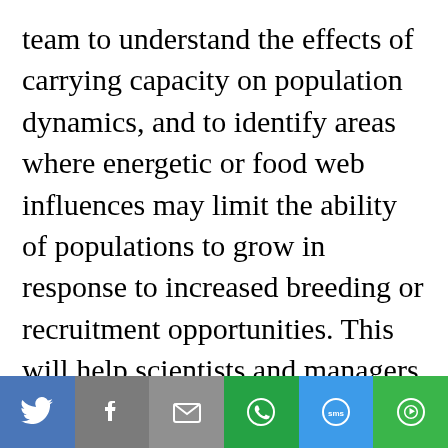team to understand the effects of carrying capacity on population dynamics, and to identify areas where energetic or food web influences may limit the ability of populations to grow in response to increased breeding or recruitment opportunities. This will help scientists and managers identify situations where additional river flows or other complementary activities may be
[Figure (other): Social sharing toolbar with icons for Twitter, Facebook, Email, WhatsApp, SMS, and More options]